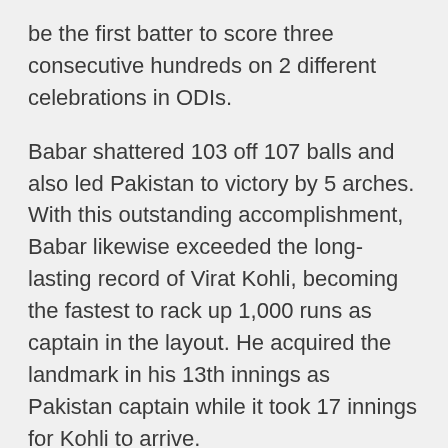be the first batter to score three consecutive hundreds on 2 different celebrations in ODIs.
Babar shattered 103 off 107 balls and also led Pakistan to victory by 5 arches. With this outstanding accomplishment, Babar likewise exceeded the long-lasting record of Virat Kohli, becoming the fastest to rack up 1,000 runs as captain in the layout. He acquired the landmark in his 13th innings as Pakistan captain while it took 17 innings for Kohli to arrive.
Discussing the suit, Pakistan put an overall of 275/8 all thanks to Babar (77) and Imam-ul-Haq (72 ), in addition to the lower-middle order who